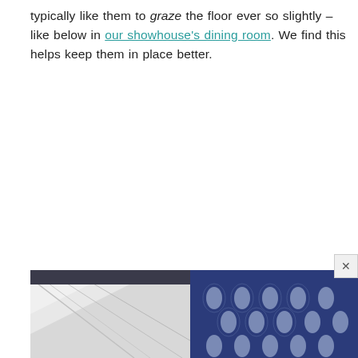typically like them to graze the floor ever so slightly – like below in our showhouse's dining room. We find this helps keep them in place better.
[Figure (photo): Partial view of a room showing fabric/rug on the floor with a dark navy patterned textile on the right side and light grey fabric on the left, partially cropped at the bottom of the page]